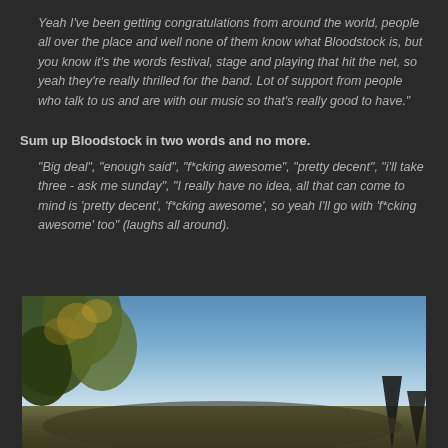Yeah I've been getting congratulations from around the world, people all over the place and well none of them know what Bloodstock is, but you know it's the words festival, stage and playing that hit the net, so yeah they're really thrilled for the band. Lot of support from people who talk to us and are with our music so that's really good to have."
Sum up Bloodstock in two words and no more.
"Big deal", "enough said", "f*cking awesome", "pretty decent", "i'll take three - ask me sunday", "I really have no idea, all that can come to mind is 'pretty decent', 'f*cking awesome', so yeah I'll go with 'f*cking awesome' too" (laughs all around).
[Figure (photo): Outdoor photograph showing trees with autumn foliage on the left side and a blue sky, with dark spire silhouettes visible at the bottom right]